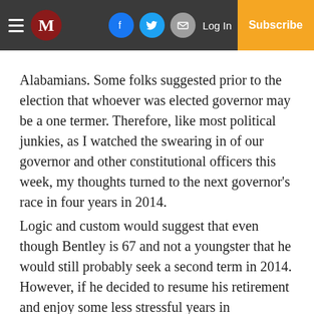M | Log In | Subscribe
Alabamians. Some folks suggested prior to the election that whoever was elected governor may be a one termer. Therefore, like most political junkies, as I watched the swearing in of our governor and other constitutional officers this week, my thoughts turned to the next governor's race in four years in 2014.
Logic and custom would suggest that even though Bentley is 67 and not a youngster that he would still probably seek a second term in 2014. However, if he decided to resume his retirement and enjoy some less stressful years in Tuscaloosa with his